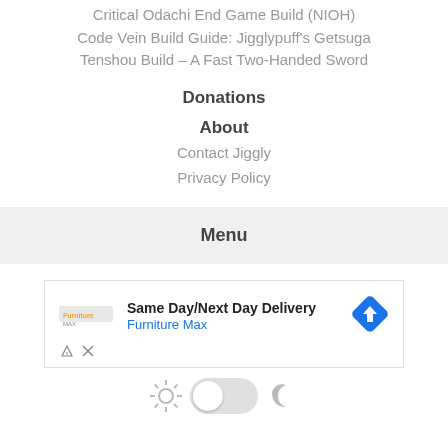Critical Odachi End Game Build (NIOH)
Code Vein Build Guide: Jigglypuff’s Getsuga Tenshou Build – A Fast Two-Handed Sword
Donations
About
Contact Jiggly
Privacy Policy
Menu
[Figure (infographic): Advertisement banner: Same Day/Next Day Delivery, Furniture Max, with a navigation/direction icon (blue diamond with arrow) and a small logo on the left.]
[Figure (other): Light/dark mode toggle row with sun icon on left, toggle pill in center (light mode active), and moon icon on right.]